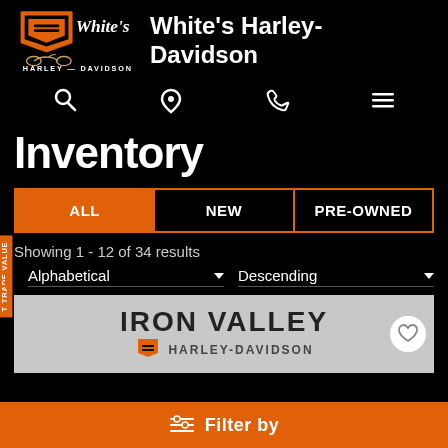[Figure (logo): White's Harley-Davidson logo with shield emblem and motorcycle graphic]
White's Harley-Davidson
[Figure (infographic): Navigation icons: search (magnifier), location pin, phone, hamburger menu]
Inventory
ALL | NEW | PRE-OWNED
Showing 1 - 12 of 34 results
Alphabetical ▼   Descending ▼
[Figure (photo): Iron Valley Harley-Davidson banner/sign image with heart/favorite button]
≡ Filter by